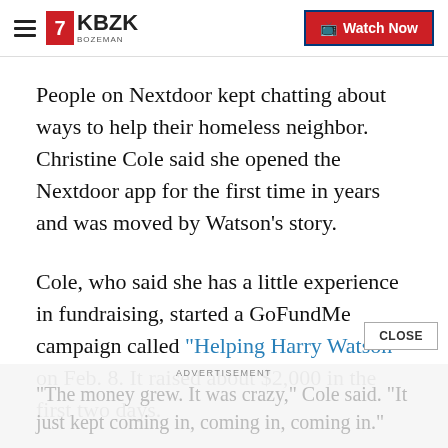KBZK BOZEMAN | Watch Now
People on Nextdoor kept chatting about ways to help their homeless neighbor. Christine Cole said she opened the Nextdoor app for the first time in years and was moved by Watson's story.
Cole, who said she has a little experience in fundraising, started a GoFundMe campaign called “Helping Harry Watson” on Feb. 8. It raised about $2,000 in the first two days.
“The money grew. It was crazy,” Cole said. “It just kept coming in, coming in, coming in.”